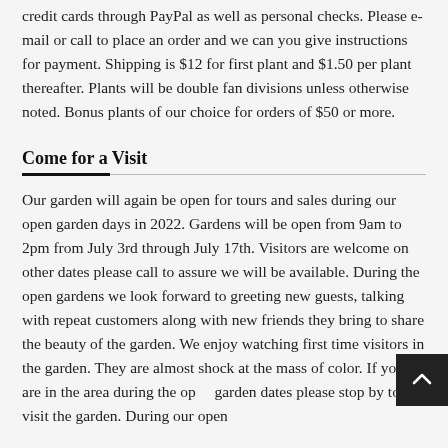credit cards through PayPal as well as personal checks. Please e-mail or call to place an order and we can you give instructions for payment. Shipping is $12 for first plant and $1.50 per plant thereafter. Plants will be double fan divisions unless otherwise noted. Bonus plants of our choice for orders of $50 or more.
Come for a Visit
Our garden will again be open for tours and sales during our open garden days in 2022. Gardens will be open from 9am to 2pm from July 3rd through July 17th. Visitors are welcome on other dates please call to assure we will be available. During the open gardens we look forward to greeting new guests, talking with repeat customers along with new friends they bring to share the beauty of the garden. We enjoy watching first time visitors in the garden. They are almost shock at the mass of color. If you are in the area during the open garden dates please stop by to visit the garden. During our open